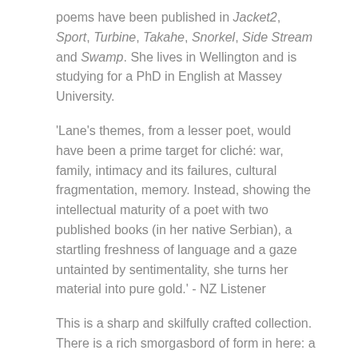poems have been published in Jacket2, Sport, Turbine, Takahe, Snorkel, Side Stream and Swamp. She lives in Wellington and is studying for a PhD in English at Massey University.
'Lane's themes, from a lesser poet, would have been a prime target for cliché: war, family, intimacy and its failures, cultural fragmentation, memory. Instead, showing the intellectual maturity of a poet with two published books (in her native Serbian), a startling freshness of language and a gaze untainted by sentimentality, she turns her material into pure gold.' - NZ Listener
This is a sharp and skilfully crafted collection. There is a rich smorgasbord of form in here: a clever villanelle ('Knife'); a sparkling constellation of concrete poems ('Another Legendary Sky'); prose poems ('dead Pixel'); list poems ('Unabridged'); found poems ('There Are No Ghosts in America'). Lane knows what she is doing, but